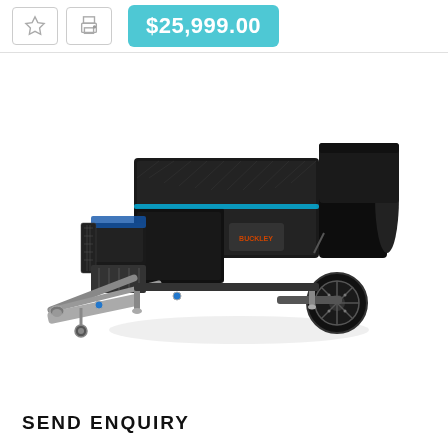$25,999.00
[Figure (photo): Black off-road camping trailer/camper with checker-plate storage boxes, spare tire, jockey wheel, and tow hitch on a white background. Brand name 'Buckley' visible on the side.]
SEND ENQUIRY